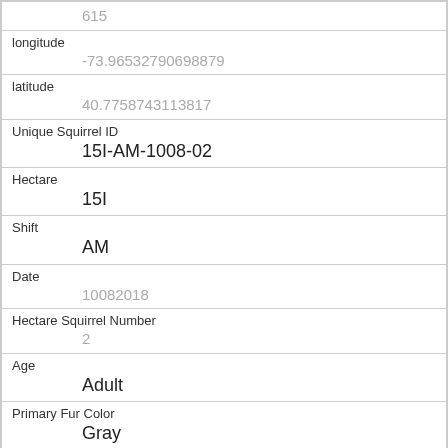615
longitude
-73.96532790698879
latitude
40.7758743113817
Unique Squirrel ID
15I-AM-1008-02
Hectare
15I
Shift
AM
Date
10082018
Hectare Squirrel Number
2
Age
Adult
Primary Fur Color
Gray
Highlight Fur Color
Cinnamon